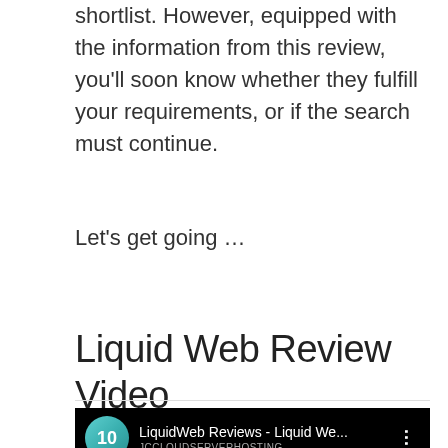shortlist. However, equipped with the information from this review, you'll soon know whether they fulfill your requirements, or if the search must continue.
Let's get going …
Liquid Web Review Video
[Figure (screenshot): YouTube video thumbnail showing LiquidWeb Reviews - Liquid We... video with channel icon showing number 10 on teal background, channel name JCCLOUDSERVERHOSTING, and a data center scene with a figure in the background]